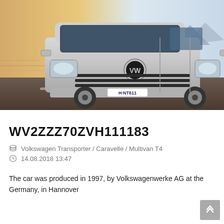[Figure (photo): Volkswagen Transporter / Multivan T4 silver van driving on road, front 3/4 view, license plate H-NT611, mountain backdrop]
WV2ZZZ70ZVH111183
Volkswagen Transporter / Caravelle / Multivan T4
14.08.2018 13:47
The car was produced in 1997, by Volkswagenwerke AG at the Germany, in Hannover